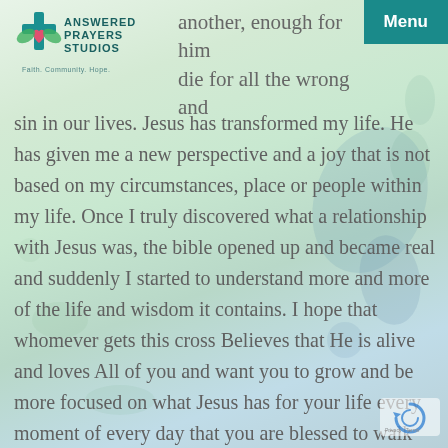[Figure (logo): Answered Prayers Studios logo with cross and heart, tagline: Faith. Community. Hope.]
Menu
another, enough for him die for all the wrong and sin in our lives. Jesus has transformed my life. He has given me a new perspective and a joy that is not based on my circumstances, place or people within my life. Once I truly discovered what a relationship with Jesus was, the bible opened up and became real and suddenly I started to understand more and more of the life and wisdom it contains. I hope that whomever gets this cross Believes that He is alive and loves All of you and want you to grow and be more focused on what Jesus has for your life every moment of every day that you are blessed to walk this earth.